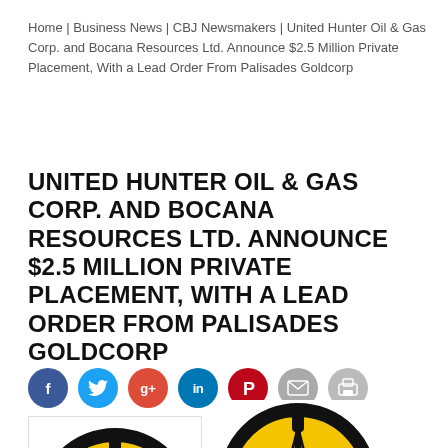Home | Business News | CBJ Newsmakers | United Hunter Oil & Gas Corp. and Bocana Resources Ltd. Announce $2.5 Million Private Placement, With a Lead Order From Palisades Goldcorp
UNITED HUNTER OIL & GAS CORP. AND BOCANA RESOURCES LTD. ANNOUNCE $2.5 MILLION PRIVATE PLACEMENT, WITH A LEAD ORDER FROM PALISADES GOLDCORP
[Figure (logo): United Hunter Oil & Gas Corp logo — black circle with yellow background, oil derrick silhouette]
[Figure (logo): United Hunter Oil & Gas Corp logo — black circle with yellow background, oil derrick silhouette (larger, no border)]